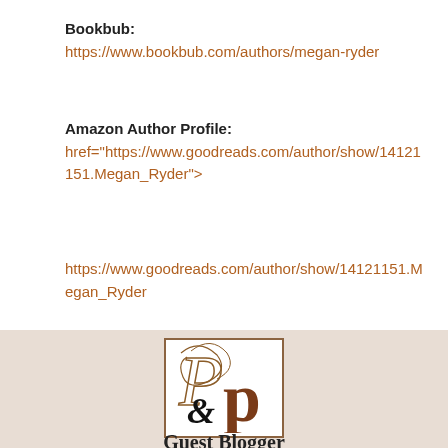Bookbub: https://www.bookbub.com/authors/megan-ryder
Amazon Author Profile:
href="https://www.goodreads.com/author/show/14121151.Megan_Ryder">
https://www.goodreads.com/author/show/14121151.Megan_Ryder
[Figure (logo): Publisher logo with stylized P, p, and ampersand characters in brown and black, inside a bordered square on a beige background]
Guest Blogger